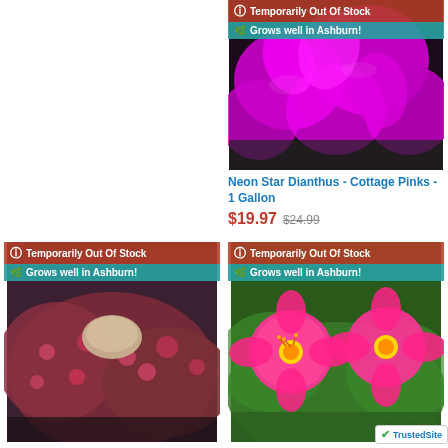[Figure (photo): Neon Star Dianthus magenta flowers with badges: Temporarily Out Of Stock, Grows well in Ashburn!]
Neon Star Dianthus - Cottage Pinks - 1 Gallon
$19.97  $24.99
[Figure (photo): Dark pink/red ground cover plant with rock, badges: Temporarily Out Of Stock, Grows well in Ashburn!]
[Figure (photo): Bright pink flowers with yellow centers on green foliage, badges: Temporarily Out Of Stock, Grows well in Ashburn!]